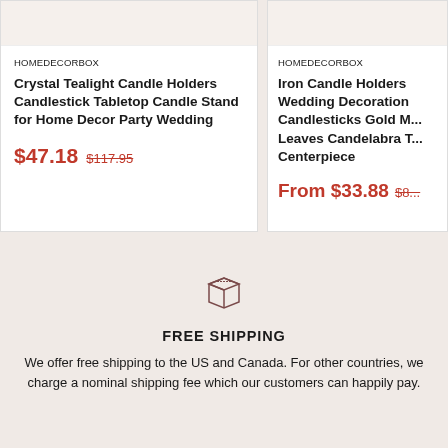HOMEDECORBOX
Crystal Tealight Candle Holders Candlestick Tabletop Candle Stand for Home Decor Party Wedding
$47.18  $117.95
HOMEDECORBOX
Iron Candle Holders Wedding Decoration Candlesticks Gold M... Leaves Candelabra T... Centerpiece
From $33.88  $8...
[Figure (illustration): Package/box icon outline illustration]
FREE SHIPPING
We offer free shipping to the US and Canada. For other countries, we charge a nominal shipping fee which our customers can happily pay.